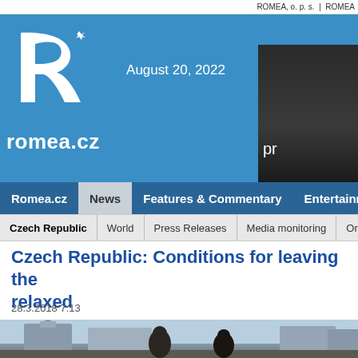ROMEA, o. p. s. | ROMEA
[Figure (logo): ROMEA romea.cz logo with stylized white R on blue background]
August 20, 2022
[Figure (photo): Partial photo with 'pr' text visible on dark background]
Romea.cz | News | Features & Commentary | Entertainm
Czech Republic | World | Press Releases | Media monitoring | Or
Czech Republic: Conditions for leaving the... relaxed
28.3.2018 7:13
[Figure (photo): Outdoor photo showing people in front of historic European buildings]